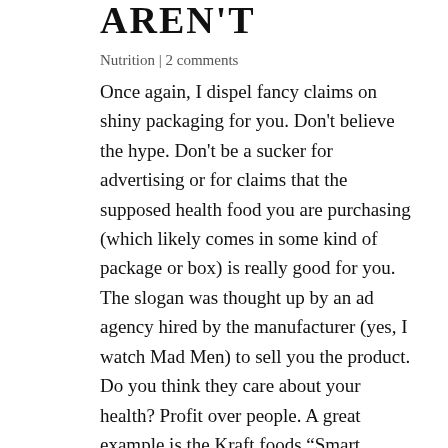AREN'T
Nutrition | 2 comments
Once again, I dispel fancy claims on shiny packaging for you. Don't believe the hype. Don't be a sucker for advertising or for claims that the supposed health food you are purchasing (which likely comes in some kind of package or box) is really good for you. The slogan was thought up by an ad agency hired by the manufacturer (yes, I watch Mad Men) to sell you the product. Do you think they care about your health? Profit over people. A great example is the Kraft foods “Smart Choices” insignia on certain packaged Kraft foods. Some of those foods are more than 50
percent sugar, but because they are low